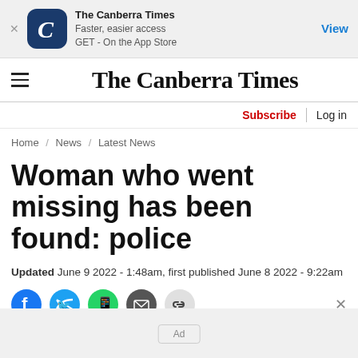[Figure (screenshot): App Store banner for The Canberra Times app with blue icon showing stylized C letter]
The Canberra Times
Faster, easier access
GET - On the App Store
View
The Canberra Times
Subscribe  |  Log in
Home / News / Latest News
Woman who went missing has been found: police
Updated June 9 2022 - 1:48am, first published June 8 2022 - 9:22am
[Figure (other): Social share icons: Facebook, Twitter, WhatsApp, Email, Link]
Ad